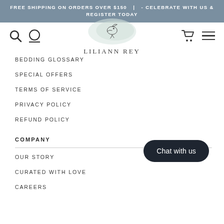FREE SHIPPING ON ORDERS OVER $150  |  - CELEBRATE WITH US & REGISTER TODAY
[Figure (logo): Liliann Rey logo with illustrated bird on watercolor splash background and text LILIANN REY]
BEDDING GLOSSARY
SPECIAL OFFERS
TERMS OF SERVICE
PRIVACY POLICY
REFUND POLICY
COMPANY
OUR STORY
CURATED WITH LOVE
CAREERS